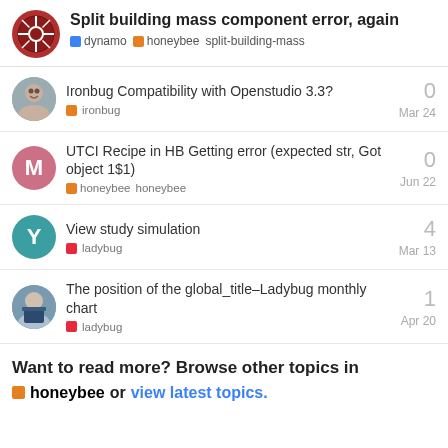Split building mass component error, again | dynamo honeybee split-building-mass
Ironbug Compatibility with Openstudio 3.3? | ironbug | Mar 24 | 0 replies
UTCI Recipe in HB Getting error (expected str, Got object 1$1) | honeybee honeybee | Jun 22 | 0 replies
View study simulation | ladybug | Mar 13 | 4 replies
The position of the global_title–Ladybug monthly chart | ladybug | Apr 20 | 1 reply
Want to read more? Browse other topics in honeybee or view latest topics.